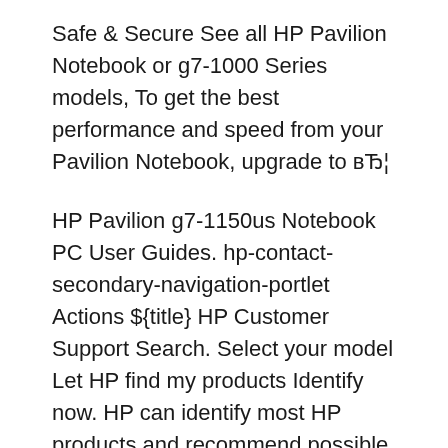Safe & Secure See all HP Pavilion Notebook or g7-1000 Series models, To get the best performance and speed from your Pavilion Notebook, upgrade to вЂ¦
HP Pavilion g7-1150us Notebook PC User Guides. hp-contact-secondary-navigation-portlet Actions ${title} HP Customer Support Search. Select your model Let HP find my products Identify now. HP can identify most HP products and recommend possible solutions. How does HP install software and gather data? Manual warranty check hp pavilion g7 processor upgrade вЂЂ11-10-2013 05:45 PM For the price of a motherboard and processor you can buy a new laptop and it is even more if you have to pay to